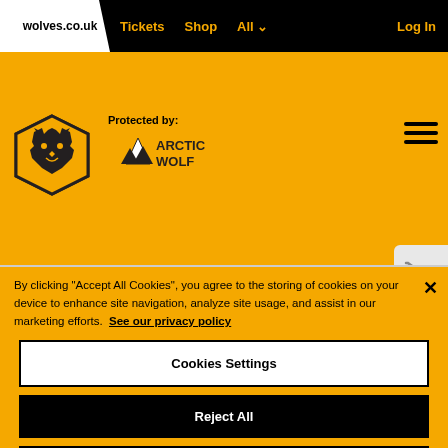wolves.co.uk  Tickets  Shop  All  Log In
[Figure (logo): Wolverhampton Wanderers wolf head crest logo in black and gold hexagon shape]
Protected by: ARCTIC WOLF
[Figure (logo): Arctic Wolf logo with mountain/wolf icon and ARCTIC WOLF text]
[Figure (other): Shopping cart icon on grey background]
By clicking "Accept All Cookies", you agree to the storing of cookies on your device to enhance site navigation, analyze site usage, and assist in our marketing efforts. See our privacy policy
Cookies Settings
Reject All
Accept All Cookies